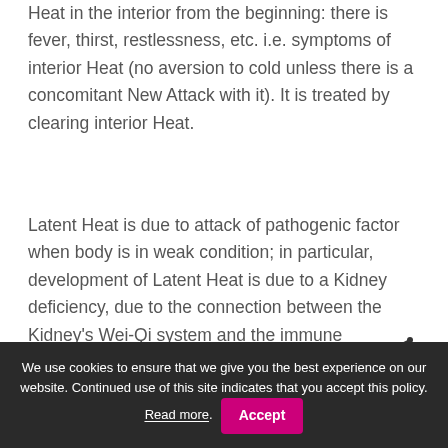Heat in the interior from the beginning: there is fever, thirst, restlessness, etc. i.e. symptoms of interior Heat (no aversion to cold unless there is a concomitant New Attack with it). It is treated by clearing interior Heat.
Latent Heat is due to attack of pathogenic factor when body is in weak condition; in particular, development of Latent Heat is due to a Kidney deficiency, due to the connection between the Kidney's Wei-Qi system and the immune defences.
[Figure (illustration): Partial diagram visible at the bottom of the page showing a yellow semicircle and a diagonal line element, likely part of a medical/acupuncture diagram.]
We use cookies to ensure that we give you the best experience on our website. Continued use of this site indicates that you accept this policy. Read more. Accept